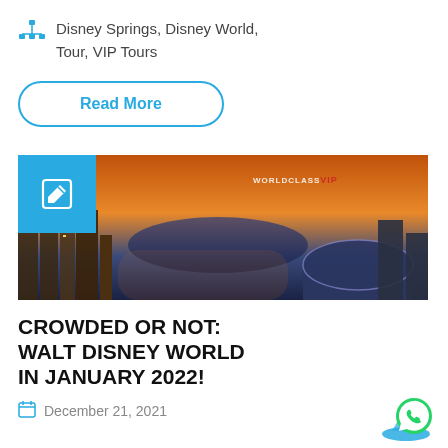Disney Springs, Disney World, Tour, VIP Tours
Read More
[Figure (photo): Aerial cityscape photo at sunset/dusk with city lights, a lake, and a watermark reading WORLD CLASS VIP. A blue edit/pen icon box overlays the top-left corner.]
CROWDED OR NOT: WALT DISNEY WORLD IN JANUARY 2022!
December 21, 2021